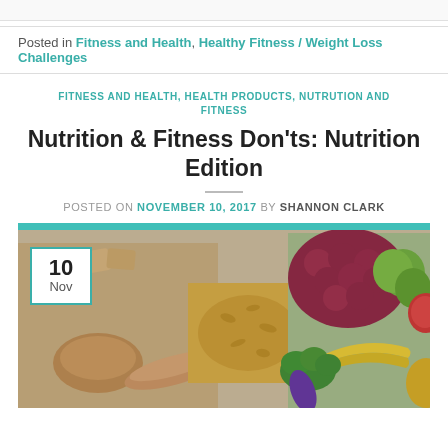Posted in Fitness and Health, Healthy Fitness / Weight Loss Challenges
FITNESS AND HEALTH, HEALTH PRODUCTS, NUTRUTION AND FITNESS
Nutrition & Fitness Don'ts: Nutrition Edition
POSTED ON NOVEMBER 10, 2017 BY SHANNON CLARK
[Figure (photo): A spread of various foods including bread, pasta, grapes, apples, bananas, broccoli, and other fruits and vegetables arranged on a surface, with a teal/cyan horizontal bar at the top and a date badge showing '10 Nov' in the upper left corner.]